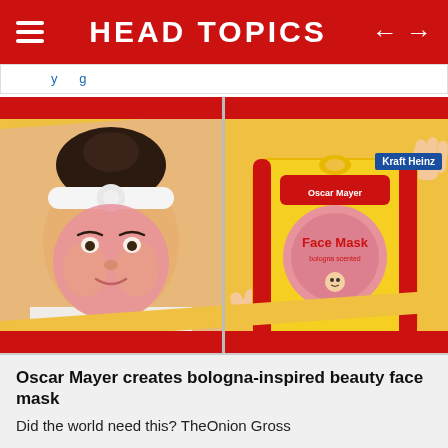HEAD TOPICS
...y...g...
[Figure (photo): Split image: left side shows a woman wearing a white headband and a pink bologna-inspired face mask; right side shows the Oscar Mayer bologna face mask product packaging in yellow and red held by hands, on a yellow background with red diagonal stripes. A 'Kraft Heinz' label appears in the upper right.]
Oscar Mayer creates bologna-inspired beauty face mask
Did the world need this? TheOnion Gross